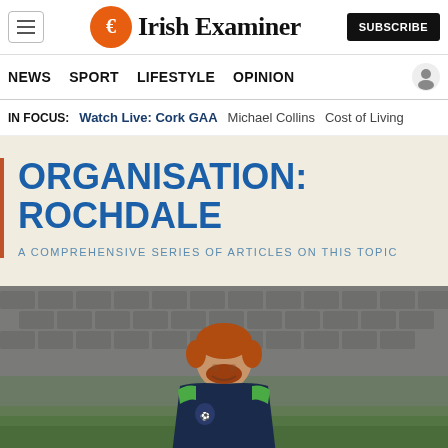Irish Examiner
NEWS  SPORT  LIFESTYLE  OPINION
IN FOCUS:  Watch Live: Cork GAA  Michael Collins  Cost of Living
ORGANISATION: ROCHDALE
A COMPREHENSIVE SERIES OF ARTICLES ON THIS TOPIC
[Figure (photo): A smiling red-haired man wearing a dark navy football jersey with green accents and a Rochdale badge, photographed outdoors at a training ground]